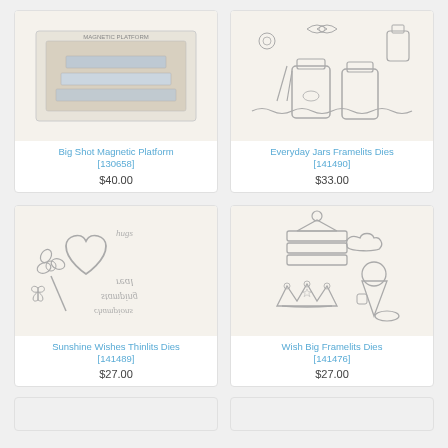[Figure (photo): Big Shot Magnetic Platform product packaging photo]
Big Shot Magnetic Platform [130658]
$40.00
[Figure (photo): Everyday Jars Framelits Dies product image showing various jar and botanical die cut shapes]
Everyday Jars Framelits Dies [141490]
$33.00
[Figure (photo): Sunshine Wishes Thinlits Dies product image showing heart, flower, and script word die cuts]
Sunshine Wishes Thinlits Dies [141489]
$27.00
[Figure (photo): Wish Big Framelits Dies product image showing cake, crown, ice cream and celebration die cuts]
Wish Big Framelits Dies [141476]
$27.00